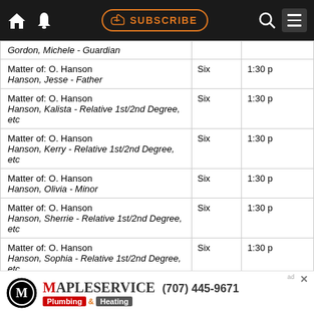SUBSCRIBE navigation bar
| Case / Party | Court | Time |
| --- | --- | --- |
| Gordon, Michele - Guardian (partial) |  |  |
| Matter of: O. Hanson
Hanson, Jesse - Father | Six | 1:30 p |
| Matter of: O. Hanson
Hanson, Kalista - Relative 1st/2nd Degree, etc | Six | 1:30 p |
| Matter of: O. Hanson
Hanson, Kerry - Relative 1st/2nd Degree, etc | Six | 1:30 p |
| Matter of: O. Hanson
Hanson, Olivia - Minor | Six | 1:30 p |
| Matter of: O. Hanson
Hanson, Sherrie - Relative 1st/2nd Degree, etc | Six | 1:30 p |
| Matter of: O. Hanson
Hanson, Sophia - Relative 1st/2nd Degree, etc | Six | 1:30 p |
| Matter of: O. Hanson
Lowery, Jr, Henry - Guardian | Six | 1:30 p |
| Matter of: O. Hanson (partial) | Six | 1:30 |
[Figure (infographic): MapleService Plumbing & Heating advertisement banner with phone number (707) 445-9671]